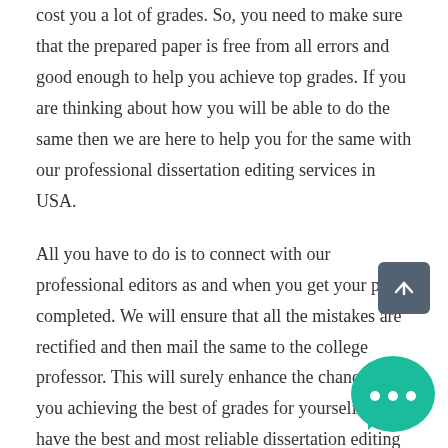cost you a lot of grades. So, you need to make sure that the prepared paper is free from all errors and good enough to help you achieve top grades. If you are thinking about how you will be able to do the same then we are here to help you for the same with our professional dissertation editing services in USA.
All you have to do is to connect with our professional editors as and when you get your paper completed. We will ensure that all the mistakes are rectified and then mail the same to the college professor. This will surely enhance the chances of you achieving the best of grades for yourself. We have the best and most reliable dissertation editing team in-house to take care of your needs and ensure that it is submitted exactly the way it should with complete proficiency. This is the reason must not hesitate and connect with our professional dissertation editors in USA and then submit your papers